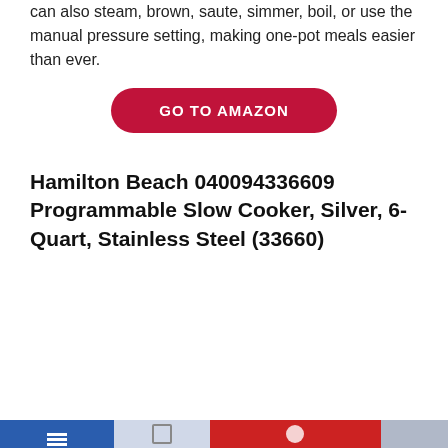can also steam, brown, saute, simmer, boil, or use the manual pressure setting, making one-pot meals easier than ever.
GO TO AMAZON
Hamilton Beach 040094336609 Programmable Slow Cooker, Silver, 6-Quart, Stainless Steel (33660)
[Figure (photo): Hamilton Beach programmable slow cooker, stainless steel, with a glass lid showing chicken and vegetables inside. A green circle badge showing -37% discount is overlaid on the left side of the image.]